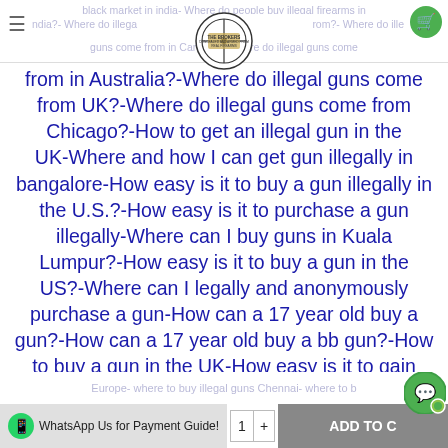black market in india- Where do people buy illegal firearms in india?- Where do illegal guns come from?- Where do illegal guns come from in Canada?- Where do illegal guns come from in Australia?
from in Australia?–Where do illegal guns come from UK?–Where do illegal guns come from Chicago?–How to get an illegal gun in the UK–Where and how I can get gun illegally in bangalore–How easy is it to buy a gun illegally in the U.S.?–How easy is it to purchase a gun illegally–Where can I buy guns in Kuala Lumpur?–How easy is it to buy a gun in the US?–Where can I legally and anonymously purchase a gun–How can a 17 year old buy a gun?–How can a 17 year old buy a bb gun?–How to buy a gun in the UK–How easy is it to gain access to illegal firearms?–How easy is it to get a gun in the United States?–illegal guns for sale–where to buy illegal guns online–where to buy illegal guns–where to buy illegal guns Europe–where to buy illegal guns Chennai–where to buy illegal guns online–buy illegal guns online–buy illegal guns online UK–where to
WhatsApp Us for Payment Guide!  1  +  ADD TO CART